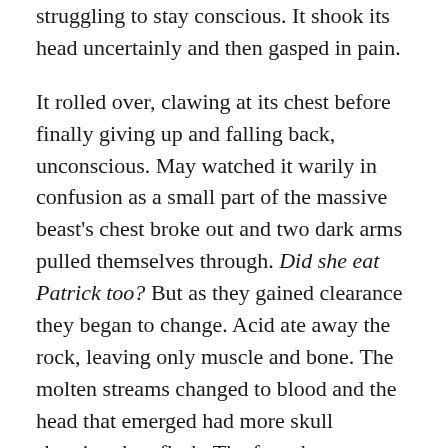struggling to stay conscious. It shook its head uncertainly and then gasped in pain.
It rolled over, clawing at its chest before finally giving up and falling back, unconscious. May watched it warily in confusion as a small part of the massive beast's chest broke out and two dark arms pulled themselves through. Did she eat Patrick too? But as they gained clearance they began to change. Acid ate away the rock, leaving only muscle and bone. The molten streams changed to blood and the head that emerged had more skull showing than flesh. The face that was beneath was clearly not Patrick's, pale skin reforming before her eyes.
Jared looked at her hesitantly, then put a finger to his lips. He doesn't want Mirkov to know he can copy